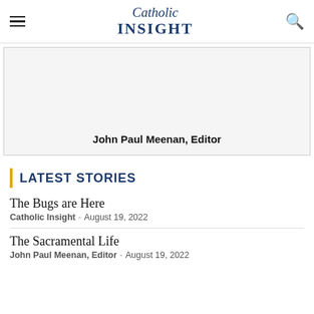Catholic INSIGHT
[Figure (photo): White/light gray placeholder image box with the text 'John Paul Meenan, Editor' centered near the bottom]
LATEST STORIES
The Bugs are Here
Catholic Insight – August 19, 2022
The Sacramental Life
John Paul Meenan, Editor – August 19, 2022